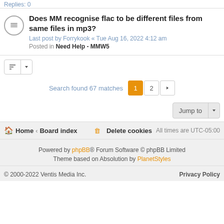Replies: 0
Does MM recognise flac to be different files from same files in mp3?
Last post by Forrykook « Tue Aug 16, 2022 4:12 am
Posted in Need Help - MMW5
Search found 67 matches  1  2  >
Jump to
Home · Board index   Delete cookies  All times are UTC-05:00
Powered by phpBB® Forum Software © phpBB Limited
Theme based on Absolution by PlanetStyles
© 2000-2022 Ventis Media Inc.    Privacy Policy